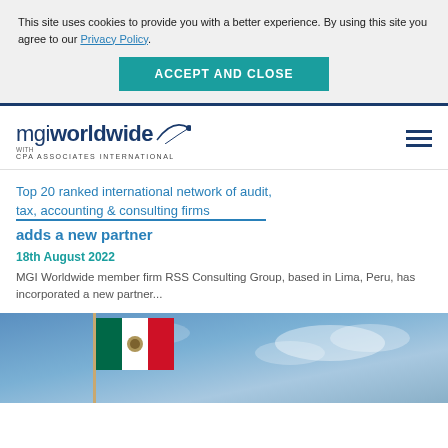This site uses cookies to provide you with a better experience. By using this site you agree to our Privacy Policy.
ACCEPT AND CLOSE
[Figure (logo): MGI Worldwide with CPA Associates International logo]
Top 20 ranked international network of audit, tax, accounting & consulting firms
adds a new partner
18th August 2022
MGI Worldwide member firm RSS Consulting Group, based in Lima, Peru, has incorporated a new partner...
[Figure (photo): Mexican flag waving against a cloudy blue sky background]